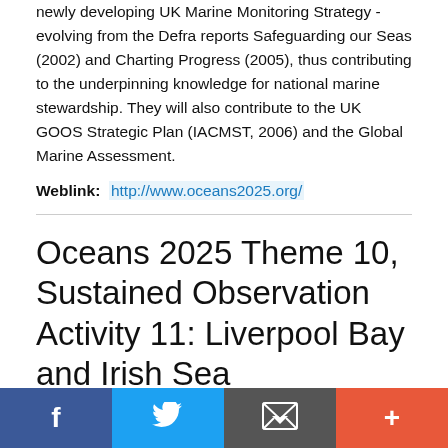newly developing UK Marine Monitoring Strategy - evolving from the Defra reports Safeguarding our Seas (2002) and Charting Progress (2005), thus contributing to the underpinning knowledge for national marine stewardship. They will also contribute to the UK GOOS Strategic Plan (IACMST, 2006) and the Global Marine Assessment.
Weblink: http://www.oceans2025.org/
Oceans 2025 Theme 10, Sustained Observation Activity 11: Liverpool Bay and Irish Sea
f  [twitter bird]  [email icon]  +